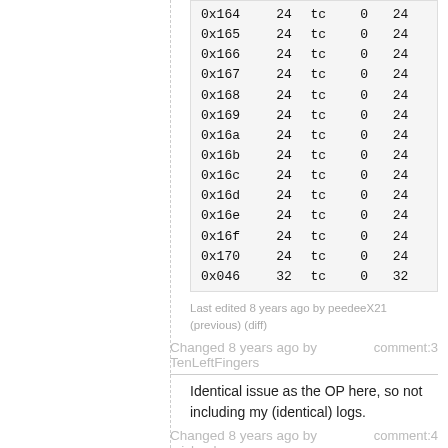| 0x164 | 24 | tc | 0 | 24 |
| 0x165 | 24 | tc | 0 | 24 |
| 0x166 | 24 | tc | 0 | 24 |
| 0x167 | 24 | tc | 0 | 24 |
| 0x168 | 24 | tc | 0 | 24 |
| 0x169 | 24 | tc | 0 | 24 |
| 0x16a | 24 | tc | 0 | 24 |
| 0x16b | 24 | tc | 0 | 24 |
| 0x16c | 24 | tc | 0 | 24 |
| 0x16d | 24 | tc | 0 | 24 |
| 0x16e | 24 | tc | 0 | 24 |
| 0x16f | 24 | tc | 0 | 24 |
| 0x170 | 24 | tc | 0 | 24 |
| 0x046 | 32 | tc | 0 | 32 |
Last edited 8 years ago by peedeeX21
(previous) (diff)
Changed 8 years ago by TenLeftFingers
comment:3
Identical issue as the OP here, so not including my (identical) logs.
Changed 8 years ago by michael
comment:4
The output is expected (our 3D support is not very clean in Linux guests, hence the warnings). Do